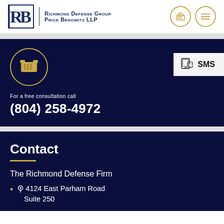[Figure (logo): Richmond Defense Group / Price Benowitz LLP logo with 'RB' monogram and firm name]
For a free consultation call
(804) 258-4972
SMS
Contact
The Richmond Defense Firm
4124 East Parham Road Suite 250